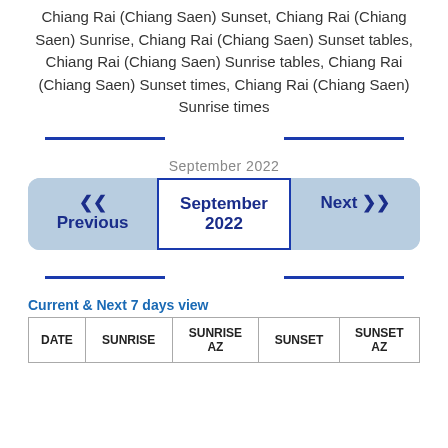Chiang Rai (Chiang Saen) Sunset, Chiang Rai (Chiang Saen) Sunrise, Chiang Rai (Chiang Saen) Sunset tables, Chiang Rai (Chiang Saen) Sunrise tables, Chiang Rai (Chiang Saen) Sunset times, Chiang Rai (Chiang Saen) Sunrise times
September 2022
Previous | September 2022 | Next
Current & Next 7 days view
| DATE | SUNRISE | SUNRISE AZ | SUNSET | SUNSET AZ |
| --- | --- | --- | --- | --- |